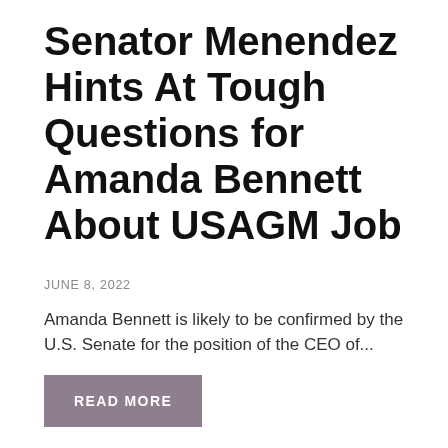Senator Menendez Hints At Tough Questions for Amanda Bennett About USAGM Job
JUNE 8, 2022
Amanda Bennett is likely to be confirmed by the U.S. Senate for the position of the CEO of...
READ MORE
[Figure (photo): Photo of a navy blue hat with 'USAGM' letters visible, against a beige/cream background, with an italic quote overlay reading: "In many countries, we're the only source of objective, fact-based news and information."]